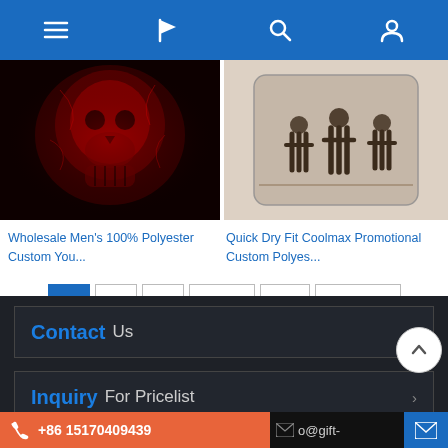[Figure (screenshot): Website navigation bar with menu, flag, search, and user icons on blue background]
[Figure (photo): Red glowing skull face mask product image on black background]
Wholesale Men’s 100% Polyester Custom You...
[Figure (photo): Coolmax promotional polyester tube scarf with silhouettes of people]
Quick Dry Fit Coolmax Promotional Custom Polyes...
1  2  3  Next >  >>  PAGE 1 / 3
Contact Us
Inquiry For Pricelist
+86 15170409439
o@gift-